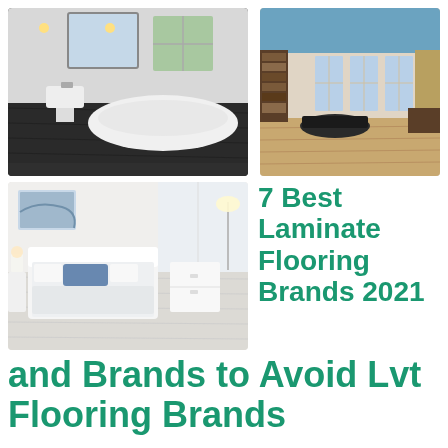[Figure (photo): Bathroom interior with dark charcoal laminate flooring, white bathtub, pedestal sink, and mirror]
[Figure (photo): Elegant living room or library with blue tinted ceiling, dark wood furniture, grand piano, and warm light wood flooring, large windows]
[Figure (photo): Modern bedroom with white furniture, bed with blue accent pillow, light grey-white laminate flooring]
7 Best Laminate Flooring Brands 2021 and Brands to Avoid Lvt Flooring Brands